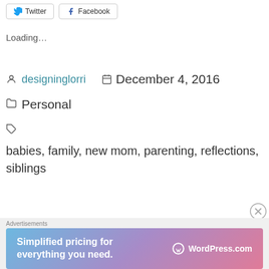[Figure (other): Twitter and Facebook share buttons at top of page]
Loading...
designinglorri   December 4, 2016
Personal
babies, family, new mom, parenting, reflections, siblings
[Figure (other): Close button (X circle icon)]
Advertisements
[Figure (other): WordPress.com advertisement banner: Simplified pricing for everything you need.]